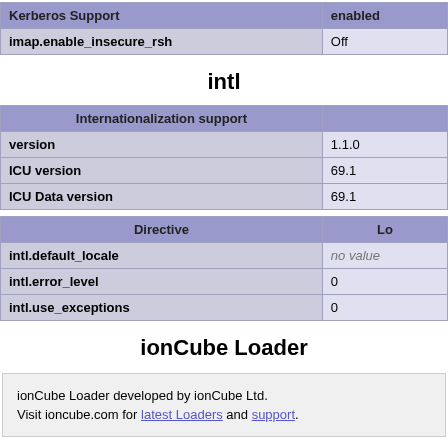| Kerberos Support | Lo... |
| --- | --- |
| imap.enable_insecure_rsh | Off |
intl
| Internationalization support |  |
| --- | --- |
| version | 1.1.0 |
| ICU version | 69.1 |
| ICU Data version | 69.1 |
| Directive | Lo... |
| --- | --- |
| intl.default_locale | no value |
| intl.error_level | 0 |
| intl.use_exceptions | 0 |
ionCube Loader
ionCube Loader developed by ionCube Ltd.
Visit ioncube.com for latest Loaders and support.